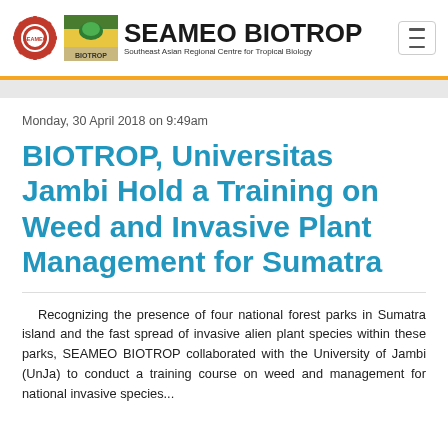SEAMEO BIOTROP — Southeast Asian Regional Centre for Tropical Biology
Monday, 30 April 2018 on 9:49am
BIOTROP, Universitas Jambi Hold a Training on Weed and Invasive Plant Management for Sumatra
Recognizing the presence of four national forest parks in Sumatra island and the fast spread of invasive alien plant species within these parks, SEAMEO BIOTROP collaborated with the University of Jambi (UnJa) to conduct a training course on weed and management for national invasive species...